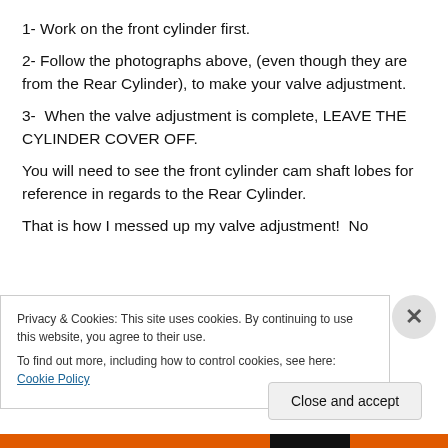1- Work on the front cylinder first.
2- Follow the photographs above, (even though they are from the Rear Cylinder), to make your valve adjustment.
3-  When the valve adjustment is complete, LEAVE THE CYLINDER COVER OFF.
You will need to see the front cylinder cam shaft lobes for reference in regards to the Rear Cylinder.
That is how I messed up my valve adjustment!  No
Privacy & Cookies: This site uses cookies. By continuing to use this website, you agree to their use.
To find out more, including how to control cookies, see here: Cookie Policy
Close and accept